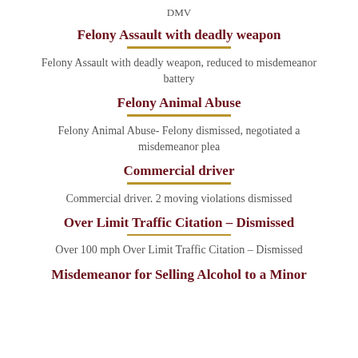DMV
Felony Assault with deadly weapon
Felony Assault with deadly weapon, reduced to misdemeanor battery
Felony Animal Abuse
Felony Animal Abuse- Felony dismissed, negotiated a misdemeanor plea
Commercial driver
Commercial driver. 2 moving violations dismissed
Over Limit Traffic Citation – Dismissed
Over 100 mph Over Limit Traffic Citation – Dismissed
Misdemeanor for Selling Alcohol to a Minor